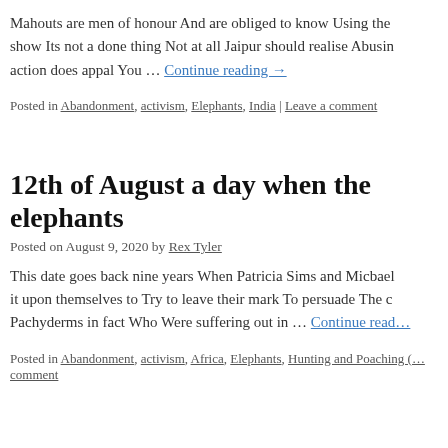Mahouts are men of honour And are obliged to know Using the… show Its not a done thing Not at all Jaipur should realise Abusing… action does appal You … Continue reading →
Posted in Abandonment, activism, Elephants, India | Leave a comment
12th of August a day when the elephants
Posted on August 9, 2020 by Rex Tyler
This date goes back nine years When Patricia Sims and Micbael… it upon themselves to Try to leave their mark To persuade The c… Pachyderms in fact Who Were suffering out in … Continue read…
Posted in Abandonment, activism, Africa, Elephants, Hunting and Poaching (… comment
“Tiggy”
Posted on July 26, 2020 by Rex Tyler